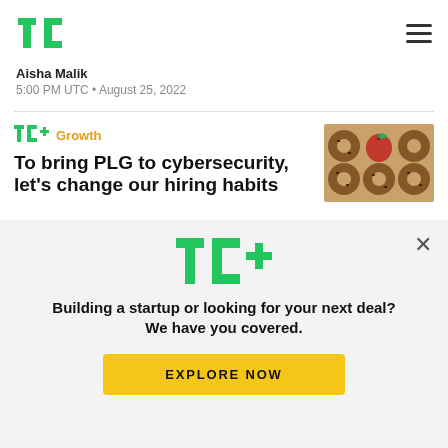TechCrunch logo and navigation
Aisha Malik
5:00 PM UTC • August 25, 2022
[Figure (illustration): TC+ Growth tag with article thumbnail showing donuts and an apple]
To bring PLG to cybersecurity, let's change our hiring habits
[Figure (screenshot): TC+ subscription modal overlay: 'Building a startup or looking for your next deal? We have you covered.' with EXPLORE NOW button]